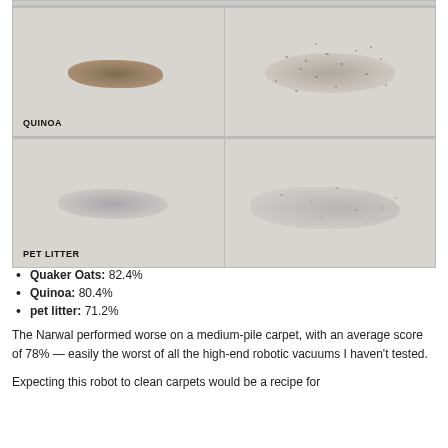[Figure (photo): Two-column photo grid showing before and after carpet cleaning tests. Top row: Quinoa before (dark dense pile of granules on carpet) and after (scattered sparse remnants). Bottom row: Pet litter before (gray clump on carpet) and after (faint scattered residue).]
Quaker Oats: 82.4%
Quinoa: 80.4%
pet litter: 71.2%
The Narwal performed worse on a medium-pile carpet, with an average score of 78% — easily the worst of all the high-end robotic vacuums I haven't tested.
Expecting this robot to clean carpets would be a recipe for